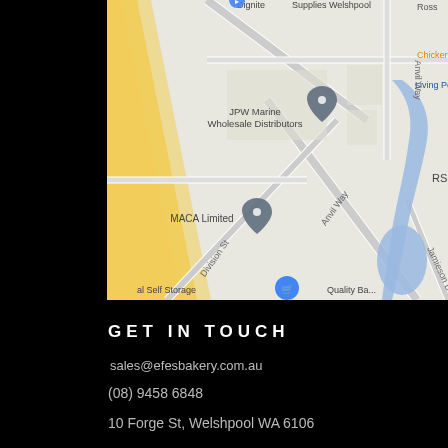[Figure (map): Google Maps screenshot showing Welshpool area with streets including Anvil Way, Division St, Jamieson D. Landmarks visible: JPW Marine Wholesale Distributors, MACA Limited, RSE, Chicken Tr (truncated), Living Pon (truncated), al Self Storage. A blue water feature is visible on the right side. A yellow diagonal road is visible top-left.]
GET IN TOUCH
sales@efesbakery.com.au
(08) 9458 6848
10 Forge St, Welshpool WA 6106